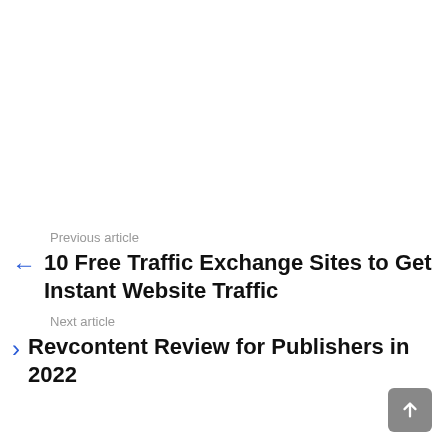Previous article
10 Free Traffic Exchange Sites to Get Instant Website Traffic
Next article
Revcontent Review for Publishers in 2022